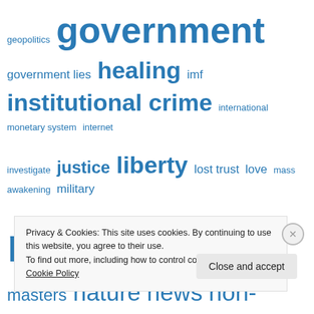[Figure (infographic): Word cloud with terms in varying sizes in blue: geopolitics, government, government lies, healing, imf, institutional crime, international monetary system, internet, investigate, justice, liberty, lost trust, love, mass awakening, military, money, money cartel, money masters, nature, news, non-compliance, oneness, peace, people, policy, politics, public, reality, remedy, research, rigged system, russia, save the People of Earth, science, secrecy, self-govern, sovereign, sword of]
Privacy & Cookies: This site uses cookies. By continuing to use this website, you agree to their use.
To find out more, including how to control cookies, see here: Cookie Policy
Close and accept